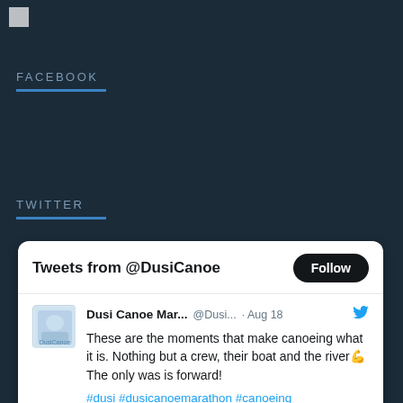FACEBOOK
TWITTER
Tweets from @DusiCanoe
Dusi Canoe Mar... @Dusi... · Aug 18
These are the moments that make canoeing what it is. Nothing but a crew, their boat and the river💪 The only was is forward!
#dusi #dusicanoemarathon #canoeing